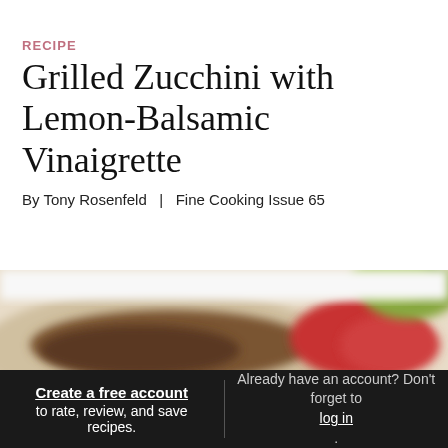RECIPE
Grilled Zucchini with Lemon-Balsamic Vinaigrette
By Tony Rosenfeld  |  Fine Cooking Issue 65
[Figure (photo): Close-up photo of grilled zucchini with lemon-balsamic vinaigrette on a plate, blurred/out of focus, showing grilled vegetables with tomatoes and green garnish]
Create a free account to rate, review, and save recipes. Already have an account? Don't forget to log in.